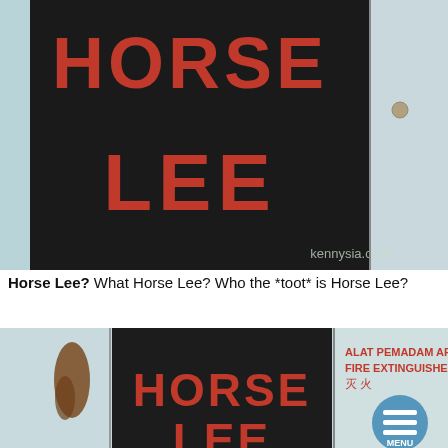[Figure (photo): A black fire extinguisher cabinet door with large red bold text reading 'HORSE' on top and 'LEE' below. A watermark 'kennysia.com' is visible in the bottom right corner. The cabinet is mounted on a light blue/white wall.]
Horse Lee? What Horse Lee? Who the *toot* is Horse Lee?
[Figure (photo): A wider shot of the same fire extinguisher cabinet showing it is a fire extinguisher box. The right panel reads 'ALAT PEMADAM API / FIRE EXTINGUISHER / 灭火' in red text. The open cabinet door reveals a black interior with red text 'HORSE' and partially visible 'LEE' at the bottom. A menu button (three horizontal lines) with 'MENU' text is overlaid in the bottom right corner.]